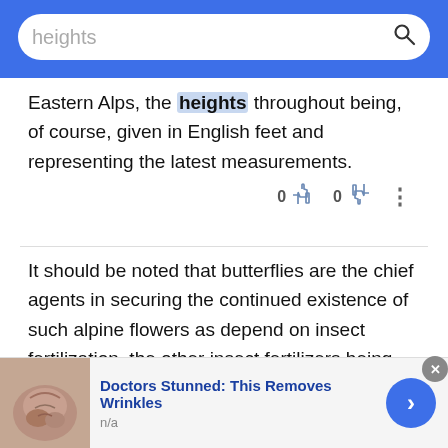heights [search bar]
Eastern Alps, the heights throughout being, of course, given in English feet and representing the latest measurements.
It should be noted that butterflies are the chief agents in securing the continued existence of such alpine flowers as depend on insect fertilization, the other insect fertilizers being mostly wanting at great heights.
On the "Heights" are many fine residences with
[Figure (other): Advertisement banner: skin photo with text 'Doctors Stunned: This Removes Wrinkles', subtext 'n/a', with close button and forward arrow]